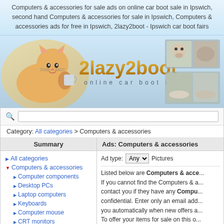Computers & accessories for sale ads on online car boot sale in Ipswich, second hand Computers & accessories for sale in Ipswich, Computers & accessories ads for free in Ipswich, 2lazy2boot - Ipswich car boot fairs
[Figure (logo): 2lazy2boot online car boot sale banner with lazy cat illustration and photos of car boot sale items]
Category: All categories > Computers & accessories
Summary
Ads: Computers & accessories
All categories
Computers & accessories
Computer components
Desktop PCs
Laptop computers
Keyboards
Computer mouse
CRT monitors
LCD monitors
Computer hubs
Ad type: Any [dropdown] Pictures
Listed below are Computers & acce... If you cannot find the Computers & a... contact you if they have any Compu... confidential. Enter only an email add... you automatically when new offers a... To offer your items for sale on this o... below or the button Post free ad in t... just few minutes to have the ad see... right corner of this page.